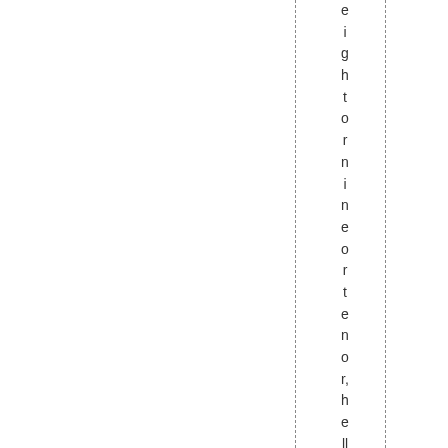eightorin neorthenorhell ,twelv ean